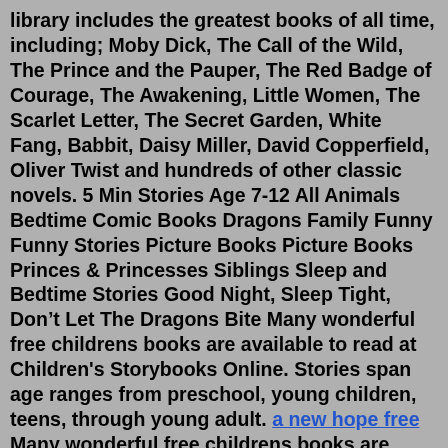library includes the greatest books of all time, including; Moby Dick, The Call of the Wild, The Prince and the Pauper, The Red Badge of Courage, The Awakening, Little Women, The Scarlet Letter, The Secret Garden, White Fang, Babbit, Daisy Miller, David Copperfield, Oliver Twist and hundreds of other classic novels. 5 Min Stories Age 7-12 All Animals Bedtime Comic Books Dragons Family Funny Funny Stories Picture Books Picture Books Princes & Princesses Siblings Sleep and Bedtime Stories Good Night, Sleep Tight, Don't Let The Dragons Bite Many wonderful free childrens books are available to read at Children's Storybooks Online. Stories span age ranges from preschool, young children, teens, through young adult. a new hope free Many wonderful free childrens books are available to read at Children's Storybooks Online. Stories span age ranges from preschool, young children, teens, through young adult.Curated online library of the best read aloud picture books that allows pre-readers and...